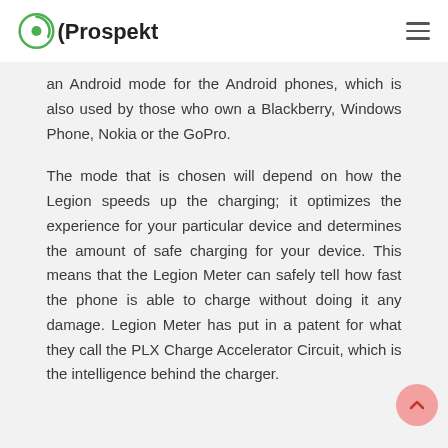Prospekt
an Android mode for the Android phones, which is also used by those who own a Blackberry, Windows Phone, Nokia or the GoPro.
The mode that is chosen will depend on how the Legion speeds up the charging; it optimizes the experience for your particular device and determines the amount of safe charging for your device. This means that the Legion Meter can safely tell how fast the phone is able to charge without doing it any damage. Legion Meter has put in a patent for what they call the PLX Charge Accelerator Circuit, which is the intelligence behind the charger.